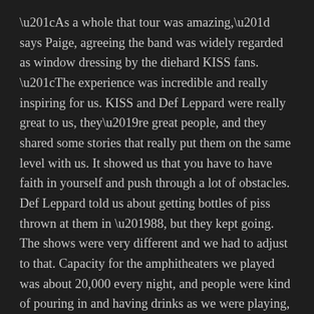“As a whole that tour was amazing,” says Paige, agreeing the band was widely regarded as window dressing by the diehard KISS fans. “The experience was incredible and really inspiring for us. KISS and Def Leppard were really great to us, they’re great people, and they shared some stories that really put them on the same level with us. It showed us that you have to have faith in yourself and push through a lot of obstacles. Def Leppard told us about getting bottles of piss thrown at them in ’88, but they kept going. The shows were very different and we had to adjust to that. Capacity for the amphitheaters we played was about 20,000 every night, and people were kind of pouring in and having drinks as we were playing, so we’d be in front of 8,000 to 10,000 people but that looks really scattered over that amount of space.”
It sounds as if Kabra And The Lotus were like a